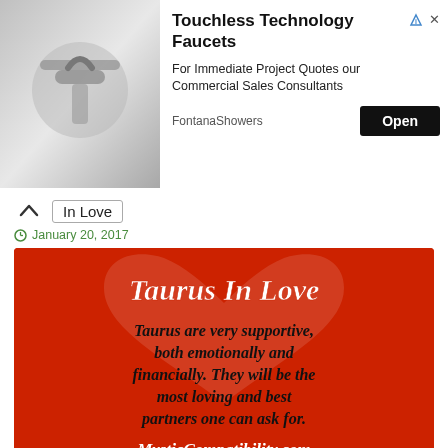[Figure (photo): Advertisement banner for Touchless Technology Faucets from FontanaShowers. Left side shows a close-up photo of a chrome faucet. Right side has the ad text and an Open button.]
In Love
January 20, 2017
[Figure (photo): Red background image with white script text 'Taurus In Love' at top and italic bold text: 'Taurus are very supportive, both emotionally and financially. They will be the most loving and best partners one can ask for.' Footer text: 'MysticCompatibility.com']
Taurus In Love
January 20, 2017
[Figure (photo): Partial red banner showing beginning of 'Gemini In Love' image]